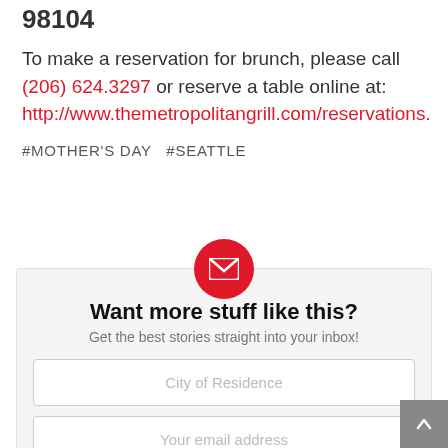98104
To make a reservation for brunch, please call (206) 624.3297 or reserve a table online at: http://www.themetropolitangrill.com/reservations.
#MOTHER'S DAY  #SEATTLE
[Figure (infographic): Email newsletter signup box with red envelope icon circle, headline 'Want more stuff like this?', subtext 'Get the best stories straight into your inbox!', two input fields (City of Residence, Your email address), and a red submit button.]
Want more stuff like this?
Get the best stories straight into your inbox!
City of Residence
Your email address